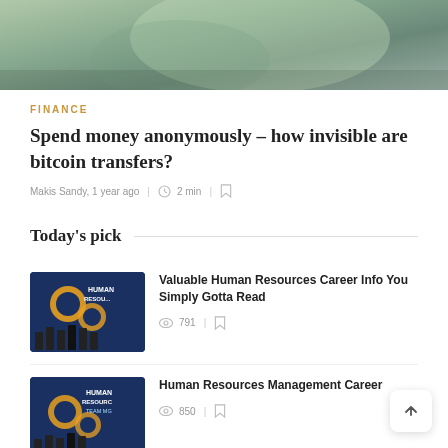[Figure (photo): Hero image of money/cash bills being held or fanned out, greenish tones]
FINANCE
Spend money anonymously – how invisible are bitcoin transfers?
Makis Sandy, 1 year ago  |  2 min  |  bookmark icon
Today's pick
[Figure (photo): Human Resources themed image with gears and silhouettes of people]
Valuable Human Resources Career Info You Simply Gotta Read
791
[Figure (photo): Human Resources management themed image with gears and HUMAN RESOURCES text]
Human Resources Management Career
850